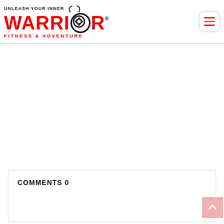[Figure (logo): Warrior Fitness & Adventure logo with red WARRIOR text, Celtic knot circle, horns, and tagline UNLEASH YOUR INNER / FITNESS & ADVENTURE]
COMMENTS 0